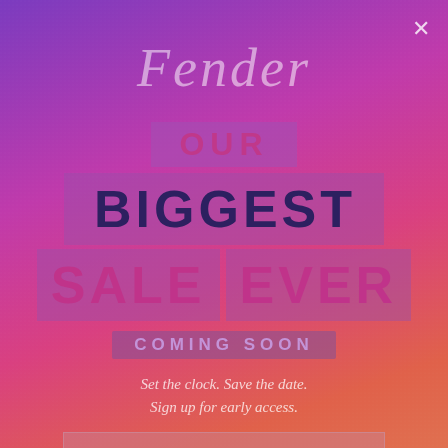[Figure (logo): Fender script logo in italic white/translucent text]
OUR BIGGEST SALE EVER
COMING SOON
Set the clock. Save the date.
Sign up for early access.
Email address
GET EARLY ACCESS
By submitting this form, you agree to receive promotional emails from Fender.